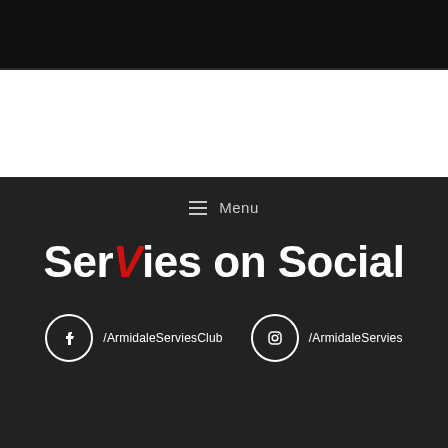[Figure (photo): Dark/black top image strip, partial photo of a venue]
≡ Menu
Servies on Social
/ArmidaleServiesClub
/ArmidaleServies